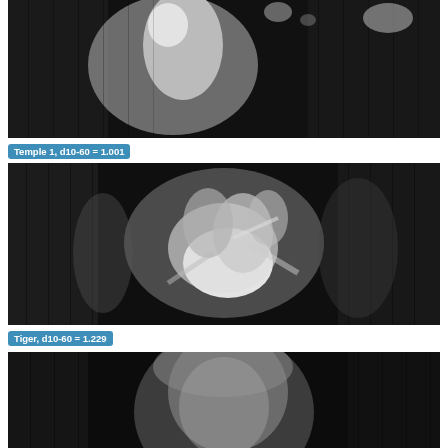[Figure (photo): Grayscale visualization frame from Temple 1 sequence showing motion/depth map with bright human figure silhouette against dark background with vertical stripe artifacts]
Temple 1, d10-60 = 1.001
[Figure (photo): Grayscale visualization frame from Tiger sequence showing motion/depth map with bright animal figure (tiger) against dark background with vertical stripe artifacts]
Tiger, d10-60 = 1.229
[Figure (photo): Grayscale visualization frame (partially visible, cropped at bottom) showing a face/head against dark background with vertical stripe artifacts]